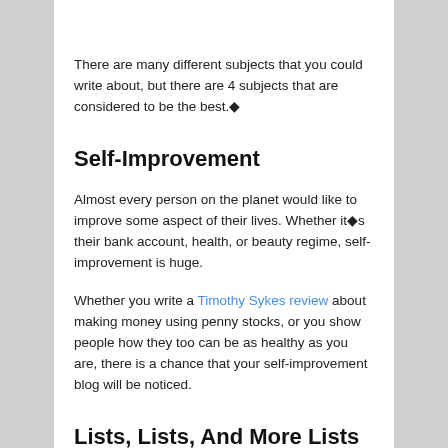There are many different subjects that you could write about, but there are 4 subjects that are considered to be the best.�
Self-Improvement
Almost every person on the planet would like to improve some aspect of their lives. Whether it�s their bank account, health, or beauty regime, self-improvement is huge.
Whether you write a Timothy Sykes review about making money using penny stocks, or you show people how they too can be as healthy as you are, there is a chance that your self-improvement blog will be noticed.
Lists, Lists, And More Lists
Lists are hugely popular these days, and blog posts that